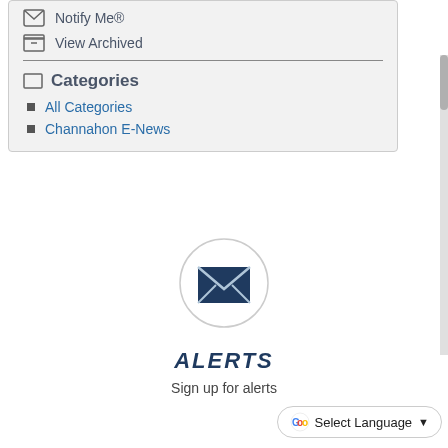Notify Me®
View Archived
Categories
All Categories
Channahon E-News
[Figure (illustration): Envelope icon inside a gray circle, representing alerts/notifications]
ALERTS
Sign up for alerts